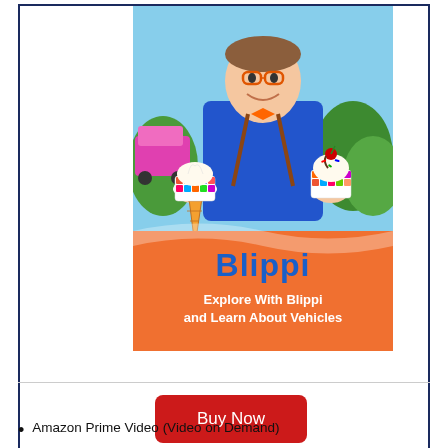[Figure (illustration): Blippi children's video product image: a man in blue shirt and orange bow tie holding two rainbow-colored ice cream cones, with orange background and text 'Blippi - Explore With Blippi and Learn About Vehicles']
Buy Now
Amazon Prime Video (Video on Demand)